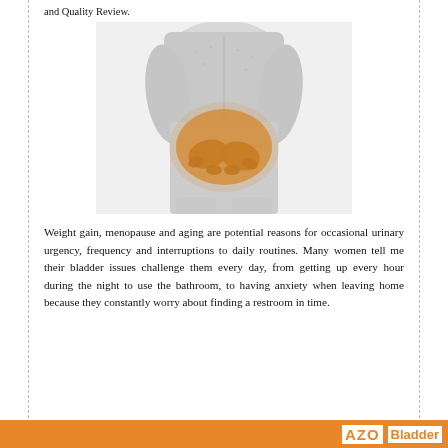and Quality Review.
[Figure (photo): Grayscale/sepia photo of a woman from torso down, wearing a light blouse and jeans, hands clasped in front of her pelvic area, with an orange/yellow highlight on the lower abdominal and pelvic region suggesting bladder discomfort.]
Weight gain, menopause and aging are potential reasons for occasional urinary urgency, frequency and interruptions to daily routines. Many women tell me their bladder issues challenge them every day, from getting up every hour during the night to use the bathroom, to having anxiety when leaving home because they constantly worry about finding a restroom in time.
AZO  Bladder